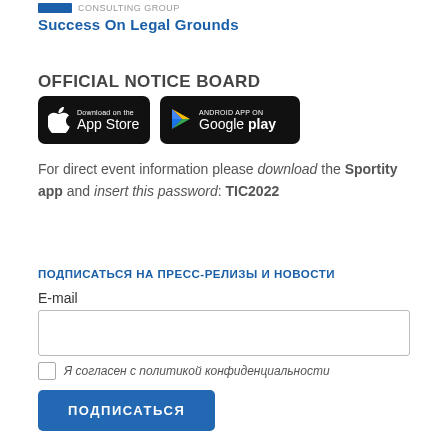[Figure (logo): Logo bar and text for consulting entity]
Success On Legal Grounds
OFFICIAL NOTICE BOARD
[Figure (illustration): App Store and Google Play download badges]
For direct event information please download the Sportity app and insert this password: TIC2022
ПОДПИСАТЬСЯ НА ПРЕСС-РЕЛИЗЫ И НОВОСТИ
E-mail
Я согласен с политикой конфиденциальности
ПОДПИСАТЬСЯ